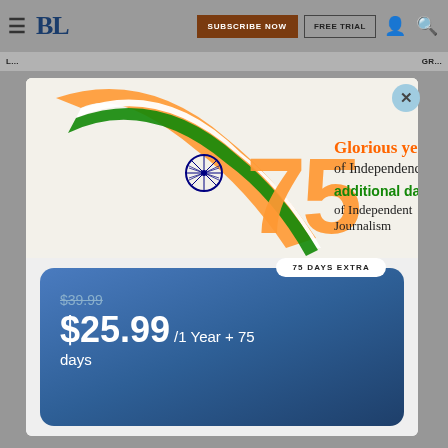BL — Business Line header with Subscribe Now and Free Trial buttons
L... GR...
[Figure (illustration): India 75th Independence anniversary banner with Indian flag ribbon and '75 Glorious years of Independence, additional days of Independent Journalism' text]
75 DAYS EXTRA
$39.99
$25.99 /1 Year + 75 days